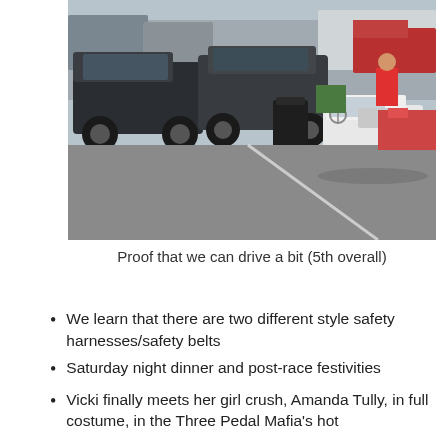[Figure (photo): Outdoor parking lot scene showing vehicles including SUVs, trucks, and a white golf cart in the foreground on an asphalt surface. Various trailers and equipment visible in the background.]
Proof that we can drive a bit (5th overall)
We learn that there are two different style safety harnesses/safety belts
Saturday night dinner and post-race festivities
Vicki finally meets her girl crush, Amanda Tully, in full costume, in the Three Pedal Mafia's hot